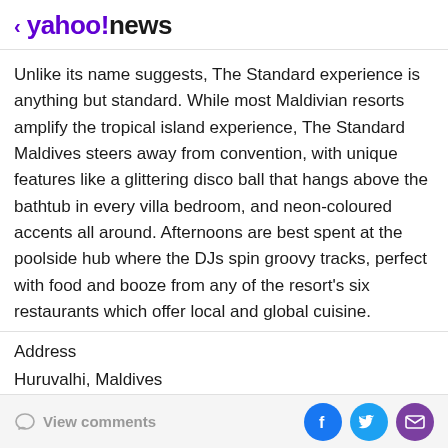yahoo!news
Unlike its name suggests, The Standard experience is anything but standard. While most Maldivian resorts amplify the tropical island experience, The Standard Maldives steers away from convention, with unique features like a glittering disco ball that hangs above the bathtub in every villa bedroom, and neon-coloured accents all around. Afternoons are best spent at the poolside hub where the DJs spin groovy tracks, perfect with food and booze from any of the resort's six restaurants which offer local and global cuisine.
Address
Huruvalhi, Maldives
View comments